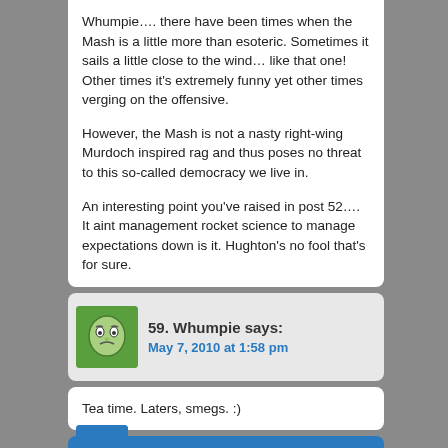Whumpie…. there have been times when the Mash is a little more than esoteric. Sometimes it sails a little close to the wind… like that one! Other times it's extremely funny yet other times verging on the offensive.

However, the Mash is not a nasty right-wing Murdoch inspired rag and thus poses no threat to this so-called democracy we live in.

An interesting point you've raised in post 52…. It aint management rocket science to manage expectations down is it. Hughton's no fool that's for sure.
59. Whumpie says:
May 7, 2010 at 1:58 pm
Tea time. Laters, smegs. :)